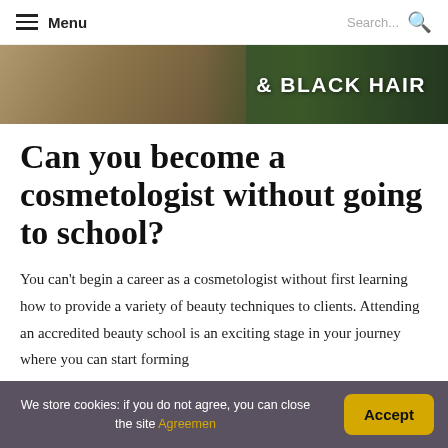Menu  Search...
[Figure (photo): Hero image strip showing hands with jewelry on a dark green background with text '& BLACK HAIR' in bold white letters]
Can you become a cosmetologist without going to school?
You can't begin a career as a cosmetologist without first learning how to provide a variety of beauty techniques to clients. Attending an accredited beauty school is an exciting stage in your journey where you can start forming
We store cookies: if you do not agree, you can close the site Agreemen
Accept